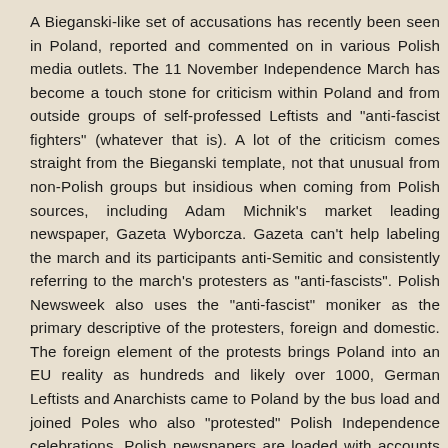A Bieganski-like set of accusations has recently been seen in Poland, reported and commented on in various Polish media outlets. The 11 November Independence March has become a touch stone for criticism within Poland and from outside groups of self-professed Leftists and "anti-fascist fighters" (whatever that is). A lot of the criticism comes straight from the Bieganski template, not that unusual from non-Polish groups but insidious when coming from Polish sources, including Adam Michnik's market leading newspaper, Gazeta Wyborcza. Gazeta can't help labeling the march and its participants anti-Semitic and consistently referring to the march's protesters as "anti-fascists". Polish Newsweek also uses the "anti-fascist" moniker as the primary descriptive of the protesters, foreign and domestic. The foreign element of the protests brings Poland into an EU reality as hundreds and likely over 1000, German Leftists and Anarchists came to Poland by the bus load and joined Poles who also "protested" Polish Independence celebrations. Polish newspapers are loaded with accounts of the lack of police action to control and separate the semi-pro German protesters from the Polish Independence